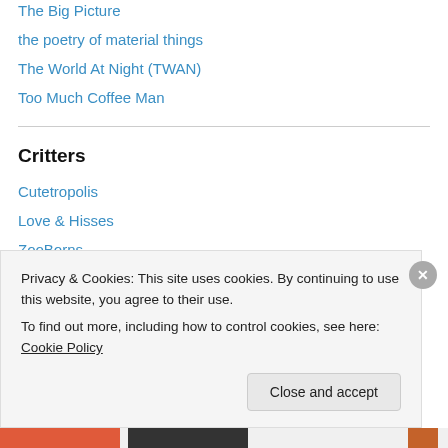The Big Picture
the poetry of material things
The World At Night (TWAN)
Too Much Coffee Man
Critters
Cutetropolis
Love & Hisses
ZooBorns
HistBlog
Privacy & Cookies: This site uses cookies. By continuing to use this website, you agree to their use.
To find out more, including how to control cookies, see here: Cookie Policy
Close and accept